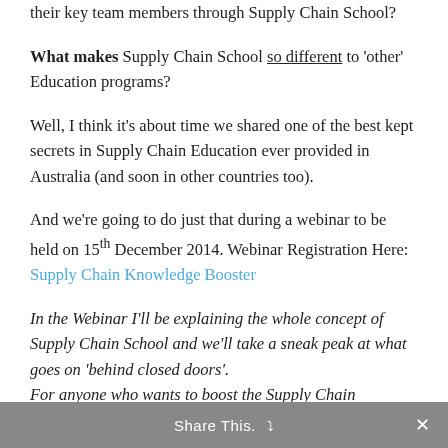their key team members through Supply Chain School?
What makes Supply Chain School so different to 'other' Education programs?
Well, I think it’s about time we shared one of the best kept secrets in Supply Chain Education ever provided in Australia (and soon in other countries too).
And we’re going to do just that during a webinar to be held on 15th December 2014. Webinar Registration Here: Supply Chain Knowledge Booster
In the Webinar I’ll be explaining the whole concept of Supply Chain School and we’ll take a sneak peak at what goes on ‘behind closed doors’.
For anyone who wants to boost the Supply Chain
Share This.